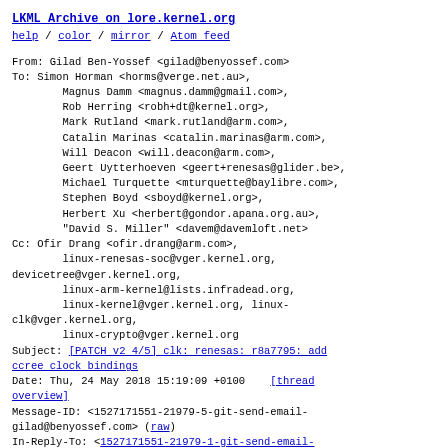LKML Archive on lore.kernel.org
help / color / mirror / Atom feed
From: Gilad Ben-Yossef <gilad@benyossef.com>
To: Simon Horman <horms@verge.net.au>,
        Magnus Damm <magnus.damm@gmail.com>,
        Rob Herring <robh+dt@kernel.org>,
        Mark Rutland <mark.rutland@arm.com>,
        Catalin Marinas <catalin.marinas@arm.com>,
        Will Deacon <will.deacon@arm.com>,
        Geert Uytterhoeven <geert+renesas@glider.be>,
        Michael Turquette <mturquette@baylibre.com>,
        Stephen Boyd <sboyd@kernel.org>,
        Herbert Xu <herbert@gondor.apana.org.au>,
        "David S. Miller" <davem@davemloft.net>
Cc: Ofir Drang <ofir.drang@arm.com>,
        linux-renesas-soc@vger.kernel.org,
devicetree@vger.kernel.org,
        linux-arm-kernel@lists.infradead.org,
        linux-kernel@vger.kernel.org, linux-clk@vger.kernel.org,
        linux-crypto@vger.kernel.org
Subject: [PATCH v2 4/5] clk: renesas: r8a7795: add ccree clock bindings
Date: Thu, 24 May 2018 15:19:09 +0100   [thread overview]
Message-ID: <1527171551-21979-5-git-send-email-gilad@benyossef.com> (raw)
In-Reply-To: <1527171551-21979-1-git-send-email-gilad@benyossef.com>